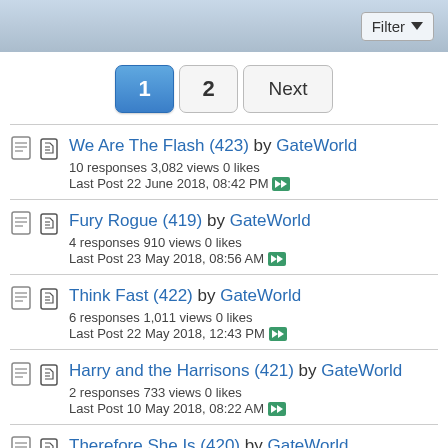Filter
1 2 Next (pagination)
We Are The Flash (423) by GateWorld
10 responses 3,082 views 0 likes
Last Post 22 June 2018, 08:42 PM
Fury Rogue (419) by GateWorld
4 responses 910 views 0 likes
Last Post 23 May 2018, 08:56 AM
Think Fast (422) by GateWorld
6 responses 1,011 views 0 likes
Last Post 22 May 2018, 12:43 PM
Harry and the Harrisons (421) by GateWorld
2 responses 733 views 0 likes
Last Post 10 May 2018, 08:22 AM
Therefore She Is (420) by GateWorld